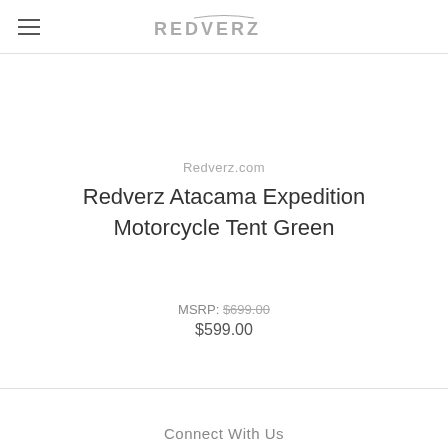REDVERZ
Redverz.com
Redverz Atacama Expedition Motorcycle Tent Green
MSRP: $699.00
$599.00
Connect With Us